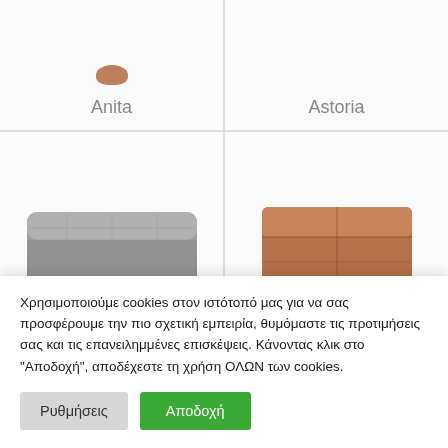[Figure (photo): Top portion of product image for Anita, small brown figurine partially visible at top]
Anita
[Figure (photo): Top portion of product image for Astoria, white/empty area]
Astoria
[Figure (photo): Gray fabric square ottoman/footstool, viewed from slight angle]
[Figure (photo): Brown leather square cube ottoman, viewed from front]
Χρησιμοποιούμε cookies στον ιστότοπό μας για να σας προσφέρουμε την πιο σχετική εμπειρία, θυμόμαστε τις προτιμήσεις σας και τις επανειλημμένες επισκέψεις. Κάνοντας κλικ στο "Αποδοχή", αποδέχεστε τη χρήση ΟΛΩΝ των cookies.
Ρυθμήσεις
Αποδοχή